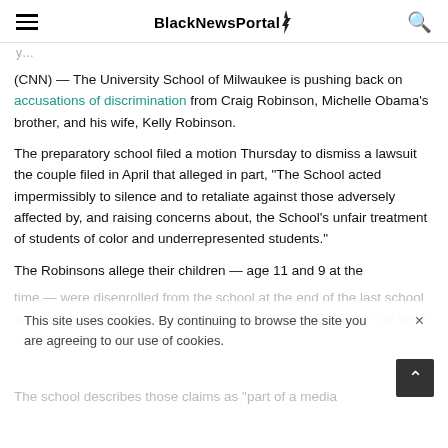BlackNewsPortal
...y...
(CNN) — The University School of Milwaukee is pushing back on accusations of discrimination from Craig Robinson, Michelle Obama's brother, and his wife, Kelly Robinson.
The preparatory school filed a motion Thursday to dismiss a lawsuit the couple filed in April that alleged in part, "The School acted impermissibly to silence and to retaliate against those adversely affected by, and raising concerns about, the School's unfair treatment of students of color and underrepresented students."
The Robinsons allege their children — age 11 and 9 at the time — were disenrolled from the school at the end of the last school year as retaliation against their parents for raising concerns that were "sensitive to the administration."
The school describes those claims as "part of a media..."
This site uses cookies. By continuing to browse the site you are agreeing to our use of cookies.